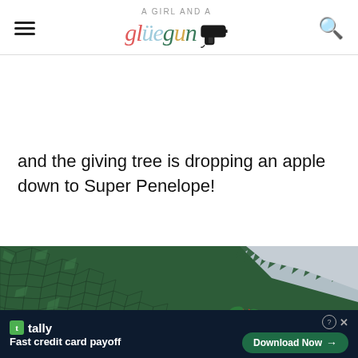A GIRL AND A gluegun [logo with glue gun icon]
and the giving tree is dropping an apple down to Super Penelope!
[Figure (photo): Close-up photo of a dark green tree with textured leaf pattern, a small red apple visible among the leaves, and a light blue-grey sky background with a yellow starburst and coral/salmon circle in the lower right.]
[Figure (screenshot): Advertisement banner for Tally app: 'Fast credit card payoff' with a Download Now button and close (X) option. Dark navy background.]